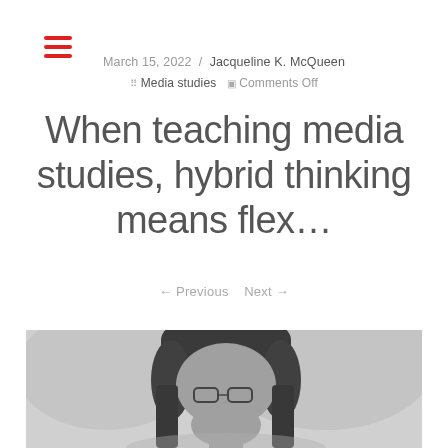☰ (hamburger menu icon)
March 15, 2022  /  Jacqueline K. McQueen
⠿ Media studies  ▣ Comments Off
When teaching media studies, hybrid thinking means flex...
← Previous   Next →
[Figure (photo): Black and white portrait photograph of a person with dark hair and glasses, looking slightly downward]